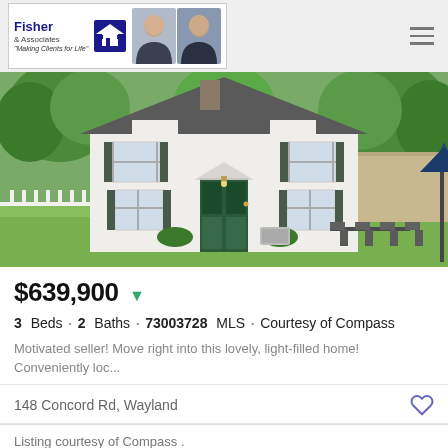Fisher & Associates - Making Clients for Life
[Figure (photo): Exterior photo of a two-story white colonial-style house with dark shutters, green door, large backyard with patio furniture, surrounded by trees]
$639,900
3 Beds · 2 Baths · 73003728 MLS · Courtesy of Compass
Motivated seller! Move right into this lovely, light-filled home! Conveniently loc...
148 Concord Rd, Wayland
Listing courtesy of Compass .